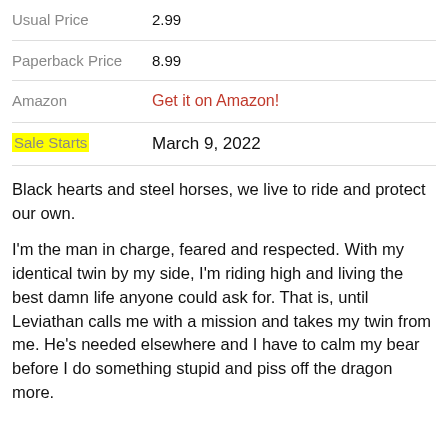| Label | Value |
| --- | --- |
| Usual Price | 2.99 |
| Paperback Price | 8.99 |
| Amazon | Get it on Amazon! |
| Sale Starts | March 9, 2022 |
Black hearts and steel horses, we live to ride and protect our own.
I'm the man in charge, feared and respected. With my identical twin by my side, I'm riding high and living the best damn life anyone could ask for. That is, until Leviathan calls me with a mission and takes my twin from me. He's needed elsewhere and I have to calm my bear before I do something stupid and piss off the dragon more.